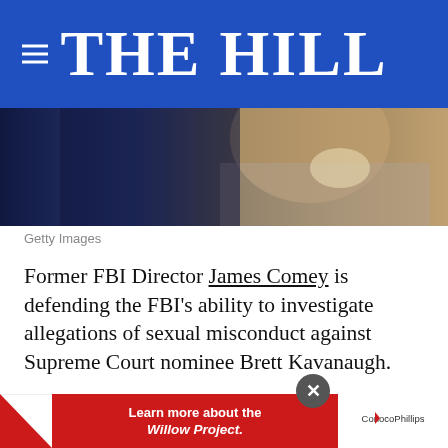THE HILL
[Figure (photo): Partial photo of a man in a grey jacket, dark background with blue tones]
Getty Images
Former FBI Director James Comey is defending the FBI's ability to investigate allegations of sexual misconduct against Supreme Court nominee Brett Kavanaugh.
Comey in a New York Times op-ed published Sunday stood up for the bureau's integrity and efficiency, writing about agents who just w... on a
[Figure (screenshot): Ad bar: red triangle logo, 'Learn more about the Willow Project.' text in red box, ConocoPhillips logo, with close (X) button overlay]